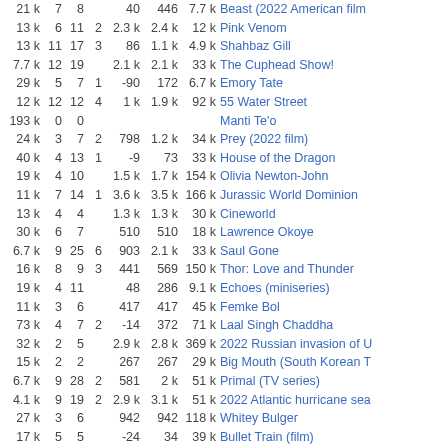| col1 | col2 | col3 | col4 | col5 | col6 | col7 | title |
| --- | --- | --- | --- | --- | --- | --- | --- |
| 21 k | 7 | 8 |  | 40 | 446 | 7.7 k | Beast (2022 American film |
| 13 k | 6 | 11 | 2 | 2.3 k | 2.4 k | 12 k | Pink Venom |
| 13 k | 11 | 17 | 3 | 86 | 1.1 k | 4.9 k | Shahbaz Gill |
| 7.7 k | 12 | 19 |  | 2.1 k | 2.1 k | 33 k | The Cuphead Show! |
| 29 k | 5 | 7 | 1 | -90 | 172 | 6.7 k | Emory Tate |
| 12 k | 12 | 12 | 4 | 1 k | 1.9 k | 92 k | 55 Water Street |
| 193 k | 0 | 0 |  |  |  |  | Manti Te'o |
| 24 k | 3 | 7 | 2 | 798 | 1.2 k | 34 k | Prey (2022 film) |
| 40 k | 4 | 13 | 1 | -9 | 73 | 33 k | House of the Dragon |
| 19 k | 4 | 10 |  | 1.5 k | 1.7 k | 154 k | Olivia Newton-John |
| 11 k | 7 | 14 | 1 | 3.6 k | 3.5 k | 166 k | Jurassic World Dominion |
| 13 k | 4 | 4 |  | 1.3 k | 1.3 k | 30 k | Cineworld |
| 30 k | 6 | 7 |  | 510 | 510 | 18 k | Lawrence Okoye |
| 6.7 k | 9 | 25 | 6 | 903 | 2.1 k | 33 k | Saul Gone |
| 16 k | 8 | 9 | 3 | 441 | 569 | 150 k | Thor: Love and Thunder |
| 19 k | 4 | 11 |  | 48 | 286 | 9.1 k | Echoes (miniseries) |
| 11 k | 3 | 6 |  | 417 | 417 | 45 k | Femke Bol |
| 73 k | 4 | 7 | 2 | -14 | 372 | 71 k | Laal Singh Chaddha |
| 32 k | 2 | 5 |  | 2.9 k | 2.8 k | 369 k | 2022 Russian invasion of U |
| 15 k | 2 | 2 |  | 267 | 267 | 29 k | Big Mouth (South Korean T |
| 6.7 k | 9 | 28 | 2 | 581 | 2 k | 51 k | Primal (TV series) |
| 4.1 k | 9 | 19 | 2 | 2.9 k | 3.1 k | 51 k | 2022 Atlantic hurricane sea |
| 27 k | 3 | 6 |  | 942 | 942 | 118 k | Whitey Bulger |
| 17 k | 5 | 5 |  | -24 | 34 | 39 k | Bullet Train (film) |
| 14 k | 4 | 5 |  | 1.8 k | 1.8 k | 38 k | Laura Muir |
| 17 k | 3 | 15 | 4 | 291 | 1.7 k | 180 k | Stranger Things |
| 5.9 k | 8 | 23 |  | 369 | 423 | 36 k | 2022 Western & Southern |
| 28 k | 3 | 4 |  | 6 | 8 | 82 k | Nope (film) |
| 24 k | 5 | 22 |  | 1.5 k | 1.5 k | 31 k | 2022 European Athletics C |
| 25 k | 6 | 8 | 3 | -74 | 294 | 88 k | Oleksandr Usyk |